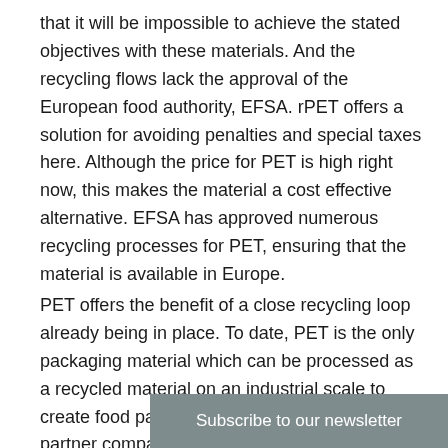that it will be impossible to achieve the stated objectives with these materials. And the recycling flows lack the approval of the European food authority, EFSA. rPET offers a solution for avoiding penalties and special taxes here. Although the price for PET is high right now, this makes the material a cost effective alternative. EFSA has approved numerous recycling processes for PET, ensuring that the material is available in Europe.
PET offers the benefit of a close recycling loop already being in place. To date, PET is the only packaging material which can be processed as a recycled material on an industrial scale to create food packaging. This innovation sees partner companies pave the way for removing the need to downcycle packaging products other than bottles, and opens up an opportunity for recycling or even upcycling. This would su[bstantially expand sustainable] uses for PET and rPET. In[...]
Subscribe to our newsletter